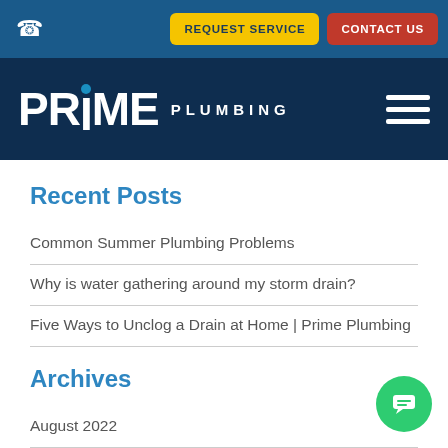REQUEST SERVICE | CONTACT US
[Figure (logo): Prime Plumbing logo with hamburger menu icon on dark navy background]
Recent Posts
Common Summer Plumbing Problems
Why is water gathering around my storm drain?
Five Ways to Unclog a Drain at Home | Prime Plumbing
Archives
August 2022